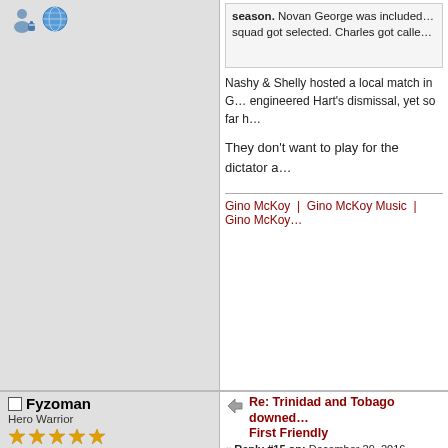[Figure (screenshot): Forum post page showing user icons (person and globe) in top-left, a quoted text box with partial text about squad selection and Charles, followed by post text about Nashy & Shelly hosting a local match and Hart's dismissal, and a separator with links to Gino McKoy pages. Bottom half shows a new post by Fyzoman (Hero Warrior, 1972 posts, Manchester United avatar) with reply title 'Re: Trinidad and Tobago downed... First Friendly', reply #15 on December 29 2016, with emoji icons and partial post text about Chelsea, shooting and running, and 'Give me levity or give me death yes'.]